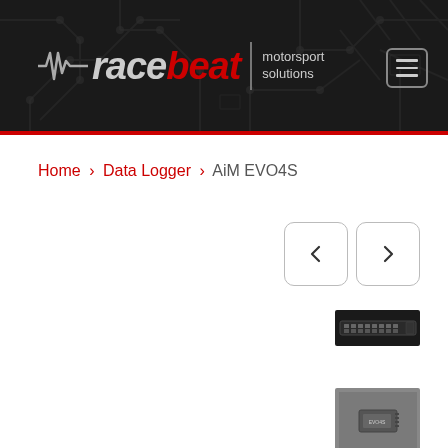[Figure (logo): Racebeat Motorsport Solutions logo with circuit board background header banner]
Home › Data Logger › AiM EVO4S
[Figure (screenshot): Navigation previous/next arrow buttons with rounded square borders]
[Figure (photo): Small thumbnail image of a connector/pinout component on dark background]
[Figure (photo): Small thumbnail image of AiM EVO4S product on grey background]